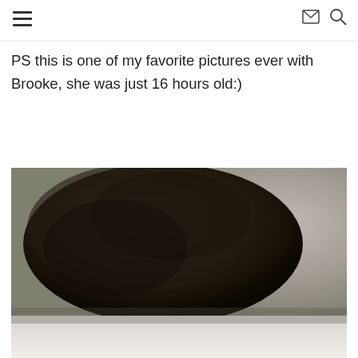PS this is one of my favorite pictures ever with Brooke, she was just 16 hours old:)
[Figure (photo): Close-up photograph of a newborn baby's head with dark hair, taken from above. The baby appears to be 16 hours old. Lower portion shows a blurred light surface.]